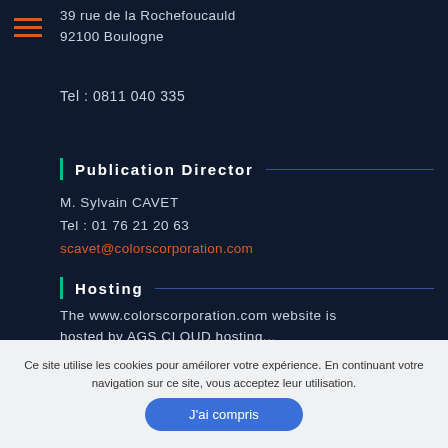39 rue de la Rochefoucauld
92100 Boulogne
Tel : 0811 040 335
Publication Director
M. Sylvain CAVET
Tel : 01 76 21 20 63
scavet@colorscorporation.com
Hosting
The www.colorscorporation.com website is hosted by AGS CLOUD...
Ce site utilise les cookies pour améilorer votre expérience. En continuant votre navigation sur ce site, vous acceptez leur utilisation.